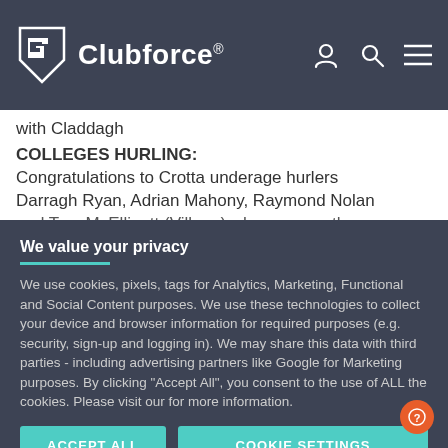Clubforce®
with Claddagh
COLLEGES HURLING:
Congratulations to Crotta underage hurlers Darragh Ryan, Adrian Mahony, Raymond Nolan and Tom McElligott (Village) who were on the ... CBS team who recently won the U15 Kerry Colleges title...
We value your privacy
We use cookies, pixels, tags for Analytics, Marketing, Functional and Social Content purposes. We use these technologies to collect your device and browser information for required purposes (e.g. security, sign-up and logging in). We may share this data with third parties - including advertising partners like Google for Marketing purposes. By clicking "Accept All", you consent to the use of ALL the cookies. Please visit our for more information.
ACCEPT ALL
COOKIE SETTINGS